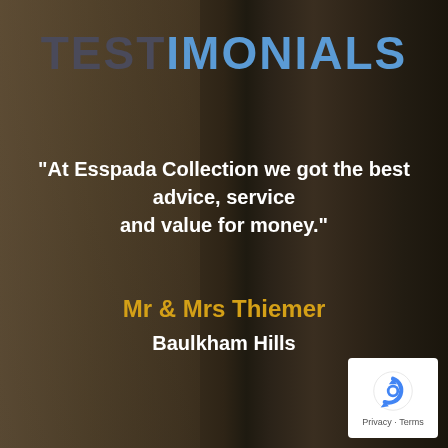TESTIMONIALS
"At Esspada Collection we got the best advice, service and value for money."
Mr & Mrs Thiemer
Baulkham Hills
[Figure (logo): reCAPTCHA badge with Privacy and Terms links]